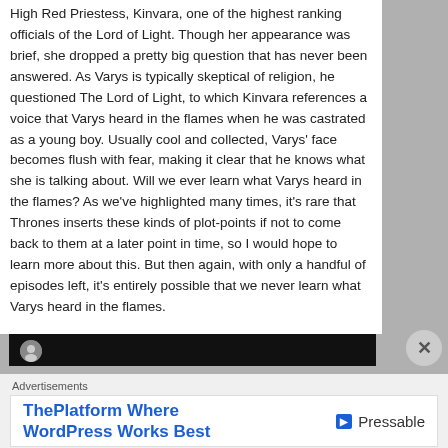High Red Priestess, Kinvara, one of the highest ranking officials of the Lord of Light. Though her appearance was brief, she dropped a pretty big question that has never been answered. As Varys is typically skeptical of religion, he questioned The Lord of Light, to which Kinvara references a voice that Varys heard in the flames when he was castrated as a young boy. Usually cool and collected, Varys' face becomes flush with fear, making it clear that he knows what she is talking about. Will we ever learn what Varys heard in the flames? As we've highlighted many times, it's rare that Thrones inserts these kinds of plot-points if not to come back to them at a later point in time, so I would hope to learn more about this. But then again, with only a handful of episodes left, it's entirely possible that we never learn what Varys heard in the flames.
[Figure (screenshot): Dark video bar with circular avatar thumbnail at the bottom of the article content area]
Advertisements
[Figure (other): Advertisement banner: ThePlatform Where WordPress Works Best - Pressable]